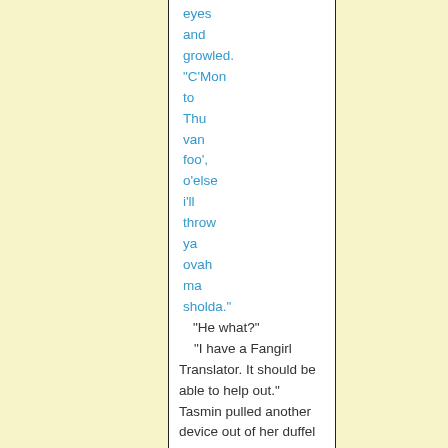eyes and growled. "C'Mon to Thu van foo', o'else i'll throw ya ovah ma sholda."
"He what?"
"I have a Fangirl Translator. It should be able to help out." Tasmin pulled another device out of her duffel bag and pointed it at BA. She showed